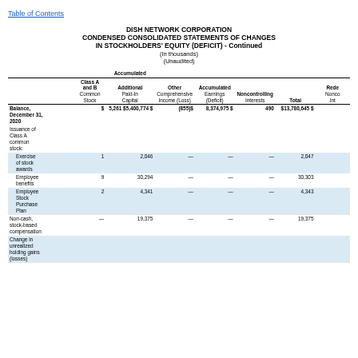Table of Contents
DISH NETWORK CORPORATION
CONDENSED CONSOLIDATED STATEMENTS OF CHANGES IN STOCKHOLDERS' EQUITY (DEFICIT) - Continued
(In thousands)
(Unaudited)
|  | Class A and B Common Stock | Additional Paid-In Capital | Accumulated Other Comprehensive Income (Loss) | Accumulated Earnings (Deficit) | Noncontrolling Interests | Total | Redeemable Noncontrolling Interests |
| --- | --- | --- | --- | --- | --- | --- | --- |
| Balance, December 31, 2020 | $ | 5,261 | $5,400,774 $ | (855)$ | 8,374,975 $ | 490 | $13,780,645 $ |  |
| Issuance of Class A common stock: |  |  |  |  |  |  |  |
| Exercise of stock awards | 1 | 2,046 | — | — | — | 2,047 |  |
| Employee benefits | 9 | 30,294 | — | — | — | 30,303 |  |
| Employee Stock Purchase Plan | 2 | 4,341 | — | — | — | 4,343 |  |
| Non-cash, stock-based compensation | — | 19,375 | — | — | — | 19,375 |  |
| Change in unrealized holding gains (losses) |  |  |  |  |  |  |  |